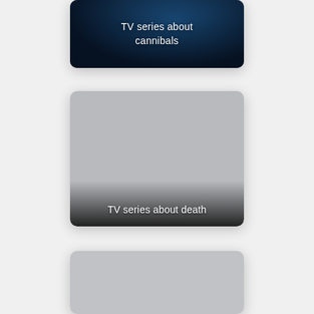[Figure (screenshot): Card with dark blue mystical background showing text 'TV series about cannibals']
TV series about cannibals
[Figure (screenshot): Gray placeholder card with dark gradient at bottom showing text 'TV series about death']
TV series about death
[Figure (screenshot): Gray placeholder card with no text, partially visible at bottom]